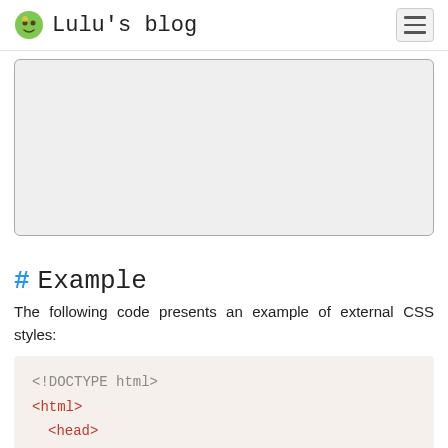Lulu's blog
[Figure (illustration): Large gray placeholder image/card with rounded corners and a dark border]
# Example
The following code presents an example of external CSS styles:
<!DOCTYPE html>
<html>
  <head>